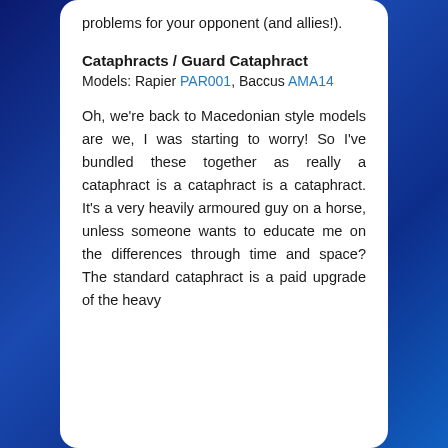problems for your opponent (and allies!).
Cataphracts / Guard Cataphract
Models: Rapier PAR001, Baccus AMA14
Oh, we're back to Macedonian style models are we, I was starting to worry! So I've bundled these together as really a cataphract is a cataphract is a cataphract. It's a very heavily armoured guy on a horse, unless someone wants to educate me on the differences through time and space? The standard cataphract is a paid upgrade of the heavy...